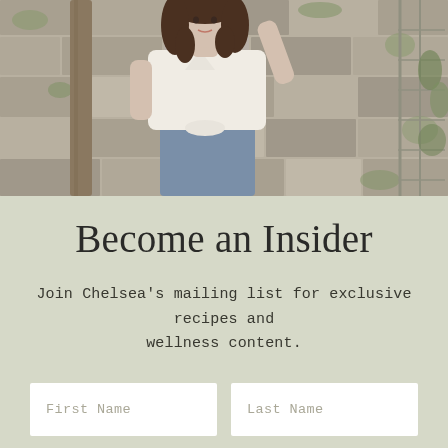[Figure (photo): A woman with long curly brown hair wearing a white shirt and jeans, standing in front of a mossy stone wall with greenery, looking upward with one hand raised.]
Become an Insider
Join Chelsea's mailing list for exclusive recipes and wellness content.
First Name   Last Name (form input fields)
(email input field — bottom, partially visible)